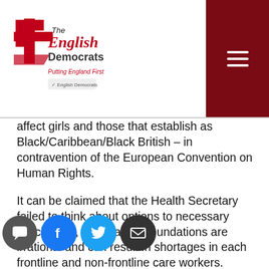The English Democrats – Putting England First
affect girls and those that establish as Black/Caribbean/Black British – in contravention of the European Convention on Human Rights.
It can be claimed that the Health Secretary failed to think about options to necessary vaccination, and that the foundations are irrational and can result in shortages in each frontline and non-frontline care workers.
The claimants in search of permission for the judicial review against the Government are Julie Peters, a care house programme director from Poole, Dorset, who's predominantly office-based occasionally required to go to care houses, and believes she ought to have freedom of alternative over medical interventions.